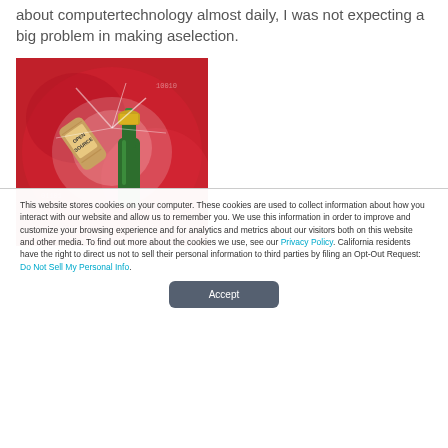about computertechnology almost daily, I was not expecting a big problem in making aselection.
[Figure (photo): A bottle of wine or champagne with a cork labeled 'OPEN SOURCE' being popped, set against a red background with digital/tech motif elements.]
This website stores cookies on your computer. These cookies are used to collect information about how you interact with our website and allow us to remember you. We use this information in order to improve and customize your browsing experience and for analytics and metrics about our visitors both on this website and other media. To find out more about the cookies we use, see our Privacy Policy. California residents have the right to direct us not to sell their personal information to third parties by filing an Opt-Out Request: Do Not Sell My Personal Info.
Accept